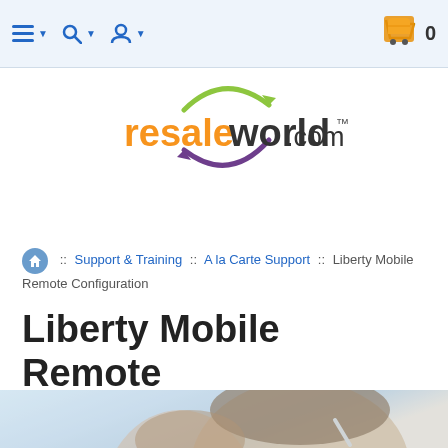Navigation bar with menu, search, account icons and shopping cart showing 0
[Figure (logo): resaleworld.com logo with green and purple circular arrow around the word 'world' in dark color, 'resale' in orange, '.com' in dark with TM mark]
:: Support & Training :: A la Carte Support :: Liberty Mobile Remote Configuration
Liberty Mobile Remote Configuration
[Figure (photo): Photo of a woman wearing a headset, with another person partially visible in the foreground, blurred]